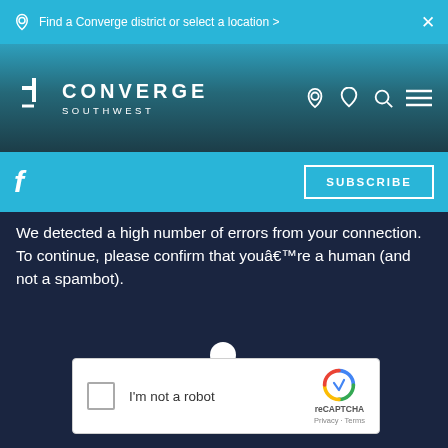Find a Converge district or select a location >
[Figure (screenshot): Converge Southwest website navigation bar with logo, location, heart, search and menu icons]
[Figure (screenshot): Social bar with Facebook icon and SUBSCRIBE button on cyan background]
We detected a high number of errors from your connection. To continue, please confirm that youâ€™re a human (and not a spambot).
[Figure (screenshot): reCAPTCHA widget with checkbox labeled I'm not a robot and reCAPTCHA branding with Privacy and Terms links]